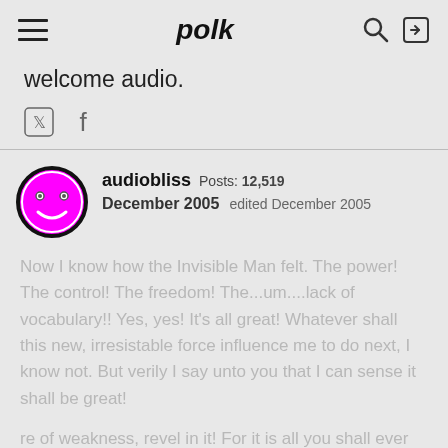polk
welcome audio.
audiobliss  Posts: 12,519  December 2005  edited December 2005
Now I know how the Invisible Man felt. The power! The control! The freedom! The...um....lack of vocabulary!! Yes, yes! It's all great! Whatever shall this new, irresistable force influence me to do next, I know not. But verily I say unto you that I can sense it shall be great!
re of weakness, revel in it! For it is all you shall ever have!!!